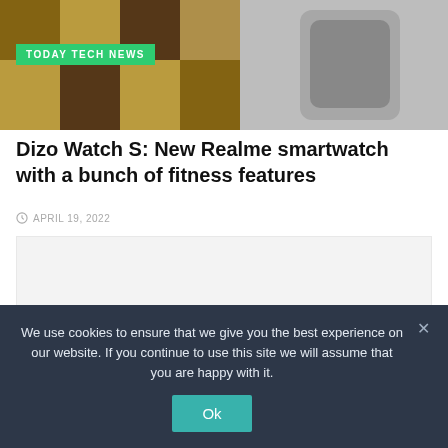[Figure (photo): Hero image of a smartwatch on a checkered surface with teal/wood tones, with a green 'TODAY TECH NEWS' badge overlay]
Dizo Watch S: New Realme smartwatch with a bunch of fitness features
APRIL 19, 2022
[Figure (other): Advertisement placeholder area with light gray background]
We use cookies to ensure that we give you the best experience on our website. If you continue to use this site we will assume that you are happy with it.